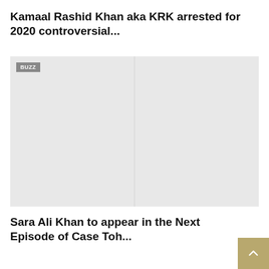Kamaal Rashid Khan aka KRK arrested for 2020 controversial...
[Figure (photo): Gray placeholder image with BUZZ badge label in top-left corner]
Sara Ali Khan to appear in the Next Episode of Case Toh...